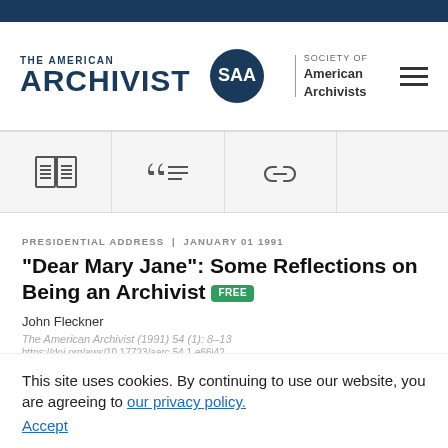THE AMERICAN ARCHIVIST | SAA Society of American Archivists
[Figure (logo): The American Archivist logo with SAA Society of American Archivists circular logo and hamburger menu icon]
[Figure (infographic): Icon toolbar with three icons: open book, citation/list, and chain link]
PRESIDENTIAL ADDRESS | JANUARY 01 1991
"Dear Mary Jane": Some Reflections on Being an Archivist FREE
John Fleckner
The American Archivist (1991) 54 (1): 8–13
https://doi.org/aws/10.17723/aarc.54.1.e66j42
This site uses cookies. By continuing to use our website, you are agreeing to our privacy policy. Accept